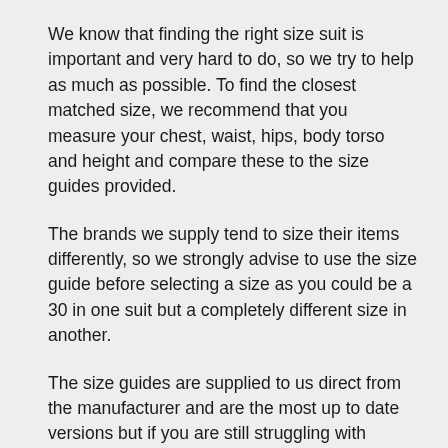We know that finding the right size suit is important and very hard to do, so we try to help as much as possible. To find the closest matched size, we recommend that you measure your chest, waist, hips, body torso and height and compare these to the size guides provided.
The brands we supply tend to size their items differently, so we strongly advise to use the size guide before selecting a size as you could be a 30 in one suit but a completely different size in another.
The size guides are supplied to us direct from the manufacturer and are the most up to date versions but if you are still struggling with selecting a size when please contact us to further assistance.
Please note, the customer service team are only here to advise and cannot be in charge of the...